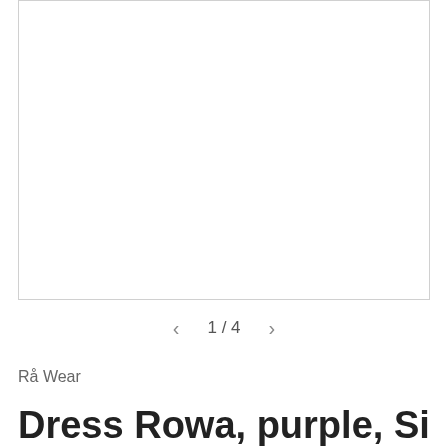[Figure (photo): White/blank product image area with border, serving as placeholder for a dress photo]
1 / 4
Rå Wear
Dress Rowa, purple, Size 38